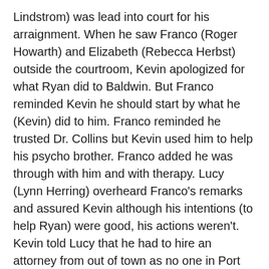Lindstrom) was lead into court for his arraignment. When he saw Franco (Roger Howarth) and Elizabeth (Rebecca Herbst) outside the courtroom, Kevin apologized for what Ryan did to Baldwin. But Franco reminded Kevin he should start by what he (Kevin) did to him. Franco reminded he trusted Dr. Collins but Kevin used him to help his psycho brother. Franco added he was through with him and with therapy. Lucy (Lynn Herring) overheard Franco's remarks and assured Kevin although his intentions (to help Ryan) were good, his actions weren't. Kevin told Lucy that he had to hire an attorney from out of town as no one in Port Charles would touch is case. Enter Llanview lawyer Nora Buchanan (Hillary Bailey Smith). Kevin told Nora he wanted to plead guilty. Nora discouraged against it. Heeding his attorney's advise, Kevin pleaded not guilty. D.A. Margaux Dawson (Elizabeth Hendrickson) wanted bail denied. Lucy spoke as a character witness and Kevin was granted bail in the amount of $100,000 and had to